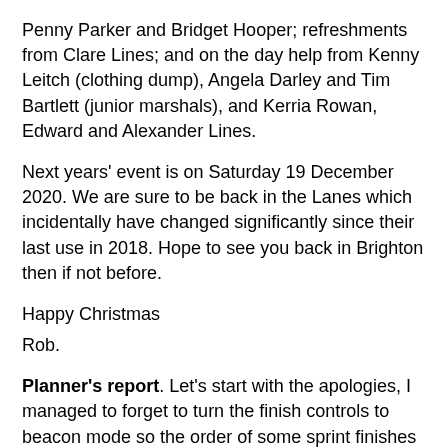Penny Parker and Bridget Hooper; refreshments from Clare Lines; and on the day help from Kenny Leitch (clothing dump), Angela Darley and Tim Bartlett (junior marshals), and Kerria Rowan, Edward and Alexander Lines.
Next years' event is on Saturday 19 December 2020. We are sure to be back in the Lanes which incidentally have changed significantly since their last use in 2018. Hope to see you back in Brighton then if not before.
Happy Christmas
Rob.
Planner's report. Let's start with the apologies, I managed to forget to turn the finish controls to beacon mode so the order of some sprint finishes may not have ended up as expected. In a particularly heavy shower around noon I managed to place control 77 on the wrong lamppost which gave a slight advantage to those that chose the more eastern routes on this runner's choice leg. Listening to comments at the finish the runner's choice added an extra element to the race - I don't know if